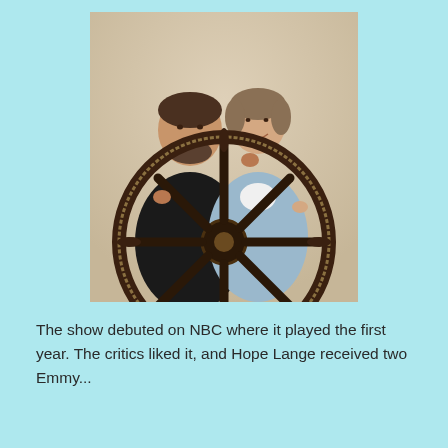[Figure (photo): A man and a woman posing together behind a large ship's steering wheel (helm). The man has a beard and dark clothing; the woman has short hair and a light blue cardigan over a white turtleneck. The photo is a vintage color promotional shot.]
The show debuted on NBC where it played the first year. The critics liked it, and Hope Lange received two Emmy...